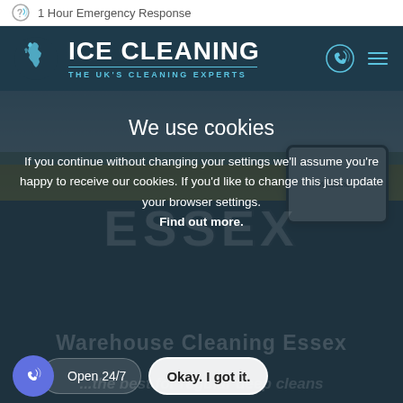1 Hour Emergency Response
[Figure (logo): ICE CLEANING logo with UK map icon and tagline 'THE UK'S CLEANING EXPERTS' on dark navy background, with phone and menu icons]
[Figure (screenshot): Website screenshot showing cookie consent overlay on ICE CLEANING website. Background shows yellow field landscape with Essex road sign. Cookie banner reads: 'We use cookies. If you continue without changing your settings we'll assume you're happy to receive our cookies. If you'd like to change this just update your browser settings. Find out more.' with 'Okay. I got it.' button and phone circle with 'Open 24/7' label.]
We use cookies
If you continue without changing your settings we'll assume you're happy to receive our cookies. If you'd like to change this just update your browser settings. Find out more.
Open 24/7
Okay. I got it.